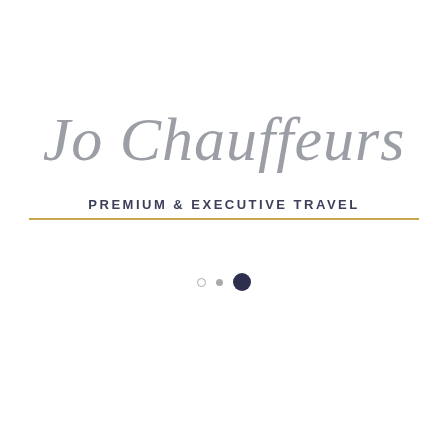Jo Chauffeurs
PREMIUM & EXECUTIVE TRAVEL
[Figure (other): Three pagination dots: small outline circle, small filled circle, large dark filled circle — indicating current page indicator (third page active)]